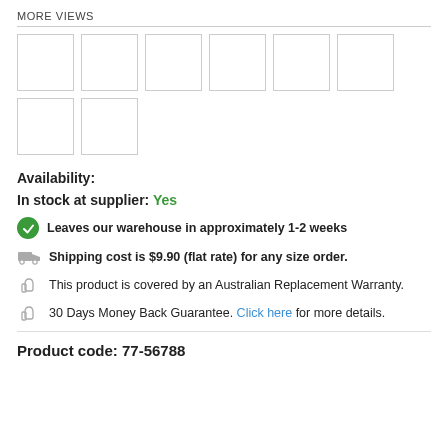MORE VIEWS
[Figure (other): Grid of 8 empty thumbnail image placeholder boxes arranged in two rows (6 in first row, 2 in second row)]
Availability:
In stock at supplier: Yes
Leaves our warehouse in approximately 1-2 weeks
Shipping cost is $9.90 (flat rate) for any size order.
This product is covered by an Australian Replacement Warranty.
30 Days Money Back Guarantee. Click here for more details.
Product code: 77-56788